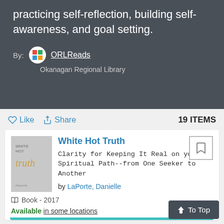practicing self-reflection, building self-awareness, and goal setting.
By: ORLReads
Okanagan Regional Library
♡ Like  ↗ Share   19 ITEMS
White Hot Truth
Clarity for Keeping It Real on your Spiritual Path--from One Seeker to Another
by LaPorte, Danielle
Book - 2017
Available in some locations